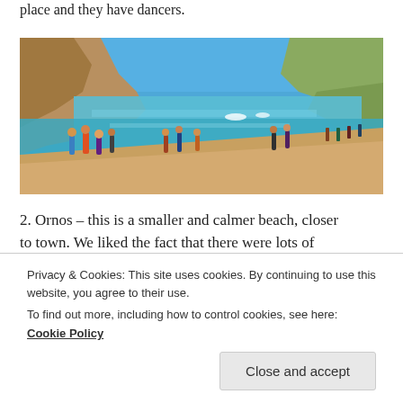place and they have dancers.
[Figure (photo): Wide-angle panoramic photo of a beach scene with people standing and sitting on sandy shore, turquoise water, rocky cliffs on the left, and hillside town visible in the background on the right.]
2. Ornos – this is a smaller and calmer beach, closer to town. We liked the fact that there were lots of
Privacy & Cookies: This site uses cookies. By continuing to use this website, you agree to their use.
To find out more, including how to control cookies, see here:
Cookie Policy
Close and accept